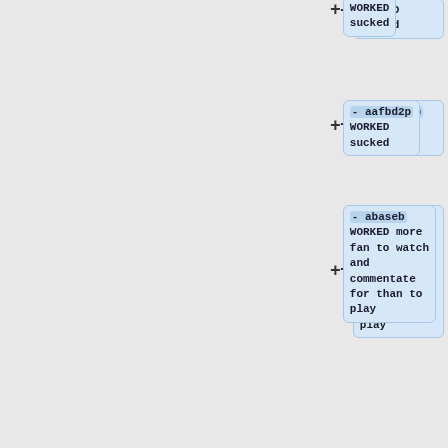WORKED sucked
- aafbd2p WORKED sucked
- abaseb WORKED more fan to watch and commentate for than to play
- abaseb2 WORKED more of the same no noticiable difference
- ace